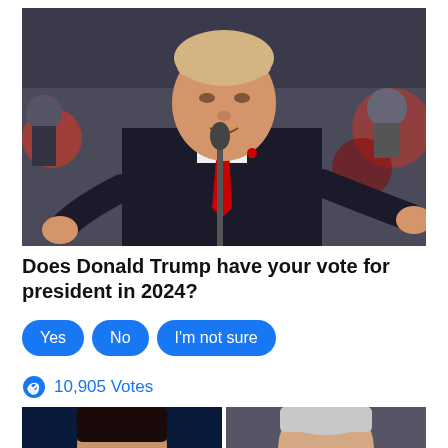[Figure (photo): Donald Trump speaking at a rally into a microphone, wearing a dark suit and red tie, crowd visible in background]
Does Donald Trump have your vote for president in 2024?
Yes
No
I'm not sure
10,905 Votes
[Figure (photo): Two people visible at bottom of page, partial view of a woman and a man side by side]